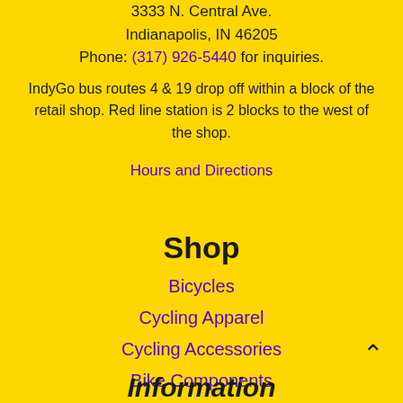3333 N. Central Ave.
Indianapolis, IN 46205
Phone: (317) 926-5440 for inquiries.
IndyGo bus routes 4 & 19 drop off within a block of the retail shop. Red line station is 2 blocks to the west of the shop.
Hours and Directions
Shop
Bicycles
Cycling Apparel
Cycling Accessories
Bike Components
Information